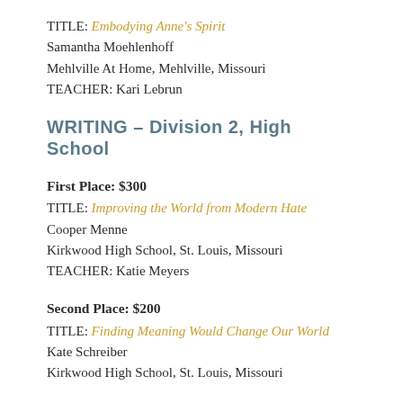TITLE: Embodying Anne's Spirit
Samantha Moehlenhoff
Mehlville At Home, Mehlville, Missouri
TEACHER: Kari Lebrun
WRITING – Division 2, High School
First Place: $300
TITLE: Improving the World from Modern Hate
Cooper Menne
Kirkwood High School, St. Louis, Missouri
TEACHER: Katie Meyers
Second Place: $200
TITLE: Finding Meaning Would Change Our World
Kate Schreiber
Kirkwood High School, St. Louis, Missouri